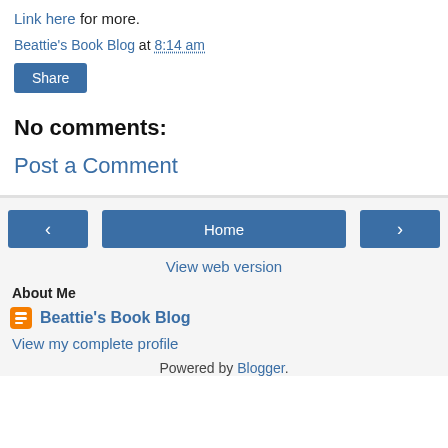Link here for more.
Beattie's Book Blog at 8:14 am
Share
No comments:
Post a Comment
‹  Home  ›
View web version
About Me
Beattie's Book Blog
View my complete profile
Powered by Blogger.